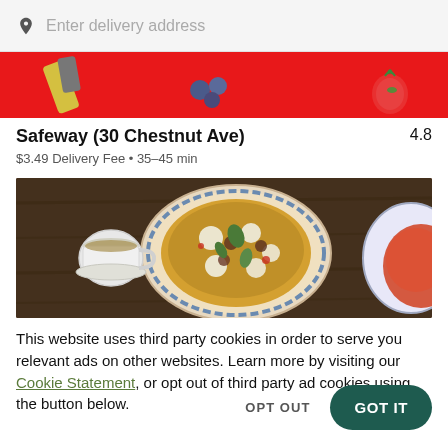Enter delivery address
[Figure (photo): Red banner with food items including a strawberry, blueberries, and other produce on a red background]
Safeway (30 Chestnut Ave)
4.8
$3.49 Delivery Fee • 35–45 min
[Figure (photo): Food photograph showing a decorative plate with a topped dish (possibly pizza or flatbread with toppings and herbs), a small cup of tea/broth, and another plate on a dark wooden table]
This website uses third party cookies in order to serve you relevant ads on other websites. Learn more by visiting our Cookie Statement, or opt out of third party ad cookies using the button below.